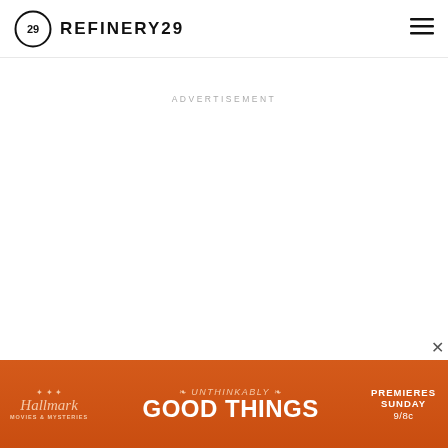REFINERY29
ADVERTISEMENT
[Figure (screenshot): Hallmark Movies & Mysteries ad banner: Unthinkably GOOD THINGS — PREMIERES SUNDAY 9/8c on orange background]